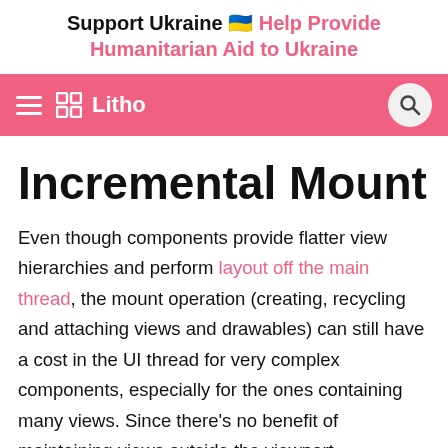Support Ukraine 🇺🇦 Help Provide Humanitarian Aid to Ukraine
≡  ⧉  Litho  🔍
Incremental Mount
Even though components provide flatter view hierarchies and perform layout off the main thread, the mount operation (creating, recycling and attaching views and drawables) can still have a cost in the UI thread for very complex components, especially for the ones containing many views. Since there's no benefit of maintaining views outside the viewport, Incremental Mount plays a pivotal role in boosting overall performance by